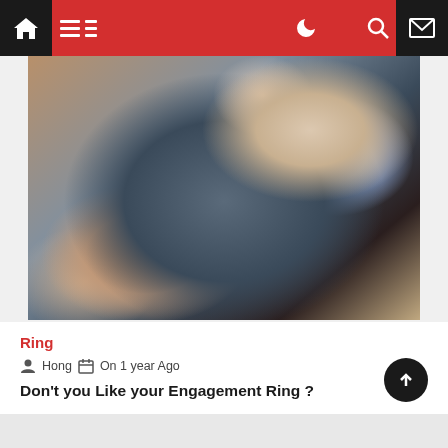Navigation bar with home, menu, night mode, search, and mail icons
[Figure (photo): Close-up photo of hands, one wearing a decorative diamond/gemstone engagement ring on the finger. The image has dark moody tones with skin tones and a jeweled ring visible.]
Ring
Hong   On 1 year Ago
Don't you Like your Engagement Ring ?